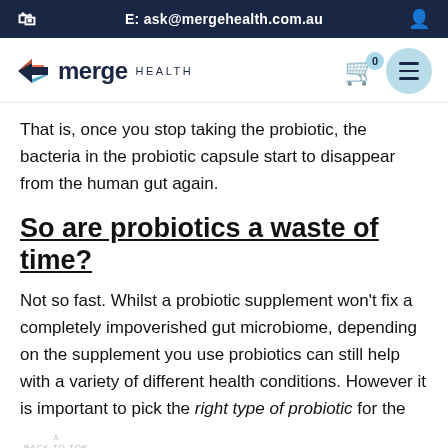E: ask@mergehealth.com.au
[Figure (logo): Merge Health logo with arrow icon, shopping cart with badge showing 0, and menu button]
That is, once you stop taking the probiotic, the bacteria in the probiotic capsule start to disappear from the human gut again.
So are probiotics a waste of time?
Not so fast. Whilst a probiotic supplement won't fix a completely impoverished gut microbiome, depending on the supplement you use probiotics can still help with a variety of different health conditions. However it is important to pick the right type of probiotic for the